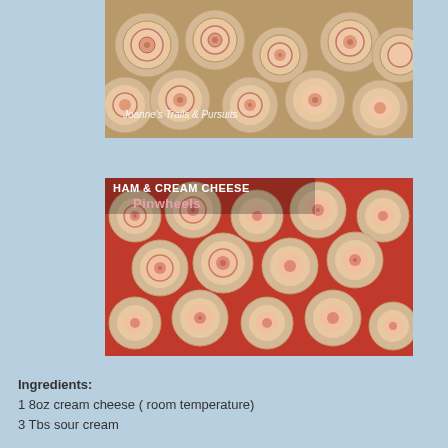[Figure (photo): Top-down photo of ham and cream cheese pinwheel roll-ups arranged closely together, showing spiral cross-sections. Watermark text reads 'Joanne's Trails & Pursuits'.]
[Figure (photo): Photo of ham and cream cheese pinwheel roll-ups on a red tray. Text overlay reads 'HAM & CREAM CHEESE Pinwheels'.]
Ingredients:
1 8oz cream cheese ( room temperature)
3 Tbs sour cream